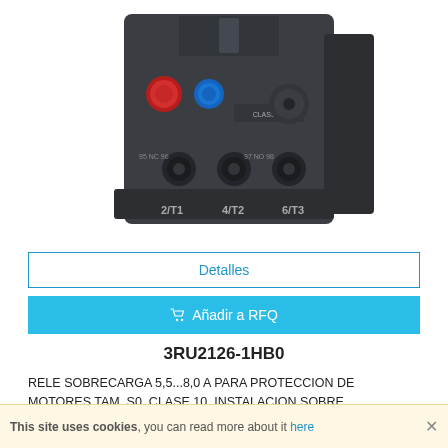[Figure (photo): Siemens 3RU2126-1HB0 thermal overload relay with red and blue buttons, three circular cable terminals on front, and terminal labels 2/T1, 4/T2, 6/T3 on the bottom. Dark grey/black industrial component.]
Detalles
🛒 Añadir a RFQ
3RU2126-1HB0
RELE SOBRECARGA 5,5...8,0 A PARA PROTECCION DE MOTORES TAM. S0, CLASE 10, INSTALACION SOBRE CONTACTOR CIRC. PPAL.: BORNES TORNILLO CIRC. AUXL.:
This site uses cookies, you can read more about it here